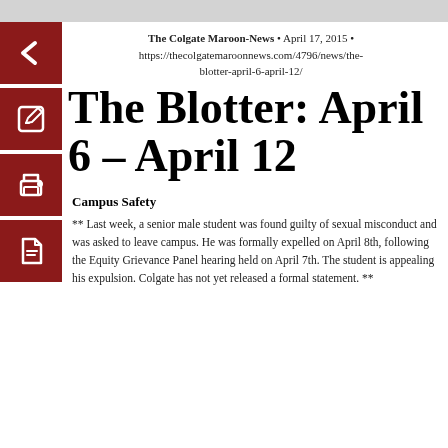The Colgate Maroon-News • April 17, 2015 • https://thecolgatemaroonnews.com/4796/news/the-blotter-april-6-april-12/
The Blotter: April 6 – April 12
Campus Safety
** Last week, a senior male student was found guilty of sexual misconduct and was asked to leave campus. He was formally expelled on April 8th, following the Equity Grievance Panel hearing held on April 7th. The student is appealing his expulsion. Colgate has not yet released a formal statement. **